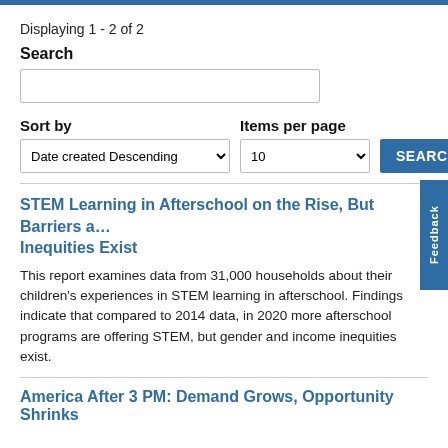Displaying 1 - 2 of 2
Search
Sort by
Items per page
SEARCH
STEM Learning in Afterschool on the Rise, But Barriers and Inequities Exist
This report examines data from 31,000 households about their children's experiences in STEM learning in afterschool. Findings indicate that compared to 2014 data, in 2020 more afterschool programs are offering STEM, but gender and income inequities exist.
America After 3 PM: Demand Grows, Opportunity Shrinks